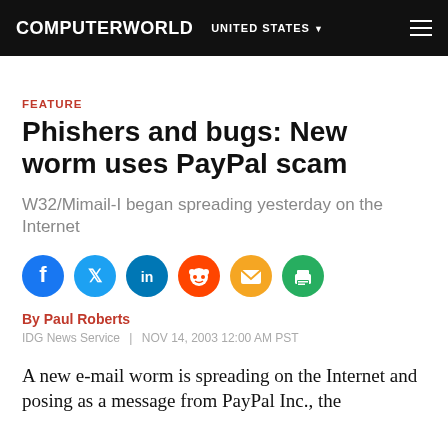COMPUTERWORLD  UNITED STATES
FEATURE
Phishers and bugs: New worm uses PayPal scam
W32/Mimail-I began spreading yesterday on the Internet
[Figure (other): Social share icons: Facebook, Twitter, LinkedIn, Reddit, Email, Print]
By Paul Roberts
IDG News Service  |  NOV 14, 2003 12:00 AM PST
A new e-mail worm is spreading on the Internet and posing as a message from PayPal Inc., the